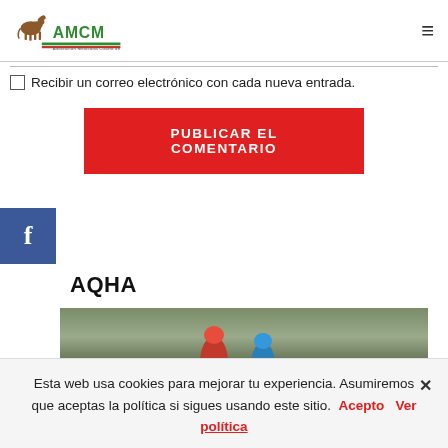AMCM logo and navigation hamburger menu
☐ Recibir un correo electrónico con cada nueva entrada.
PUBLICAR EL COMENTARIO
[Figure (logo): Facebook social plugin icon (blue square with white f)]
AQHA
[Figure (photo): Photo of horse racing jockeys on track with building in background]
Esta web usa cookies para mejorar tu experiencia. Asumiremos que aceptas la política si sigues usando este sitio. Acepto Ver política